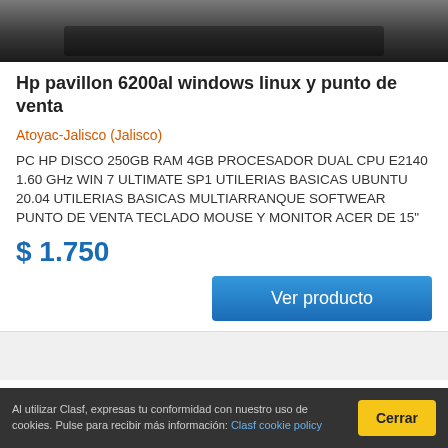[Figure (photo): Top photo strip of a computer monitor/screen, dark background]
Hp pavillon 6200al windows linux y punto de venta
Atoyac-Jalisco (Jalisco)
PC HP DISCO 250GB RAM 4GB PROCESADOR DUAL CPU E2140 1.60 GHz WIN 7 ULTIMATE SP1 UTILERIAS BASICAS UBUNTU 20.04 UTILERIAS BASICAS MULTIARRANQUE SOFTWEAR PUNTO DE VENTA TECLADO MOUSE Y MONITOR ACER DE 15"
$ 1.750
Ver producto
Al utilizar Clasf, expresas tu conformidad con nuestro uso de cookies. Pulse para recibir más información: Clasf cookie policy  Cerrar